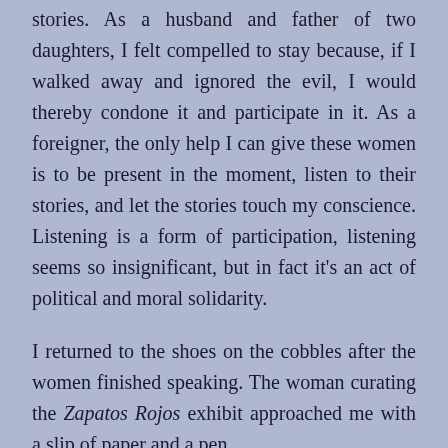stories. As a husband and father of two daughters, I felt compelled to stay because, if I walked away and ignored the evil, I would thereby condone it and participate in it. As a foreigner, the only help I can give these women is to be present in the moment, listen to their stories, and let the stories touch my conscience. Listening is a form of participation, listening seems so insignificant, but in fact it's an act of political and moral solidarity.
I returned to the shoes on the cobbles after the women finished speaking. The woman curating the Zapatos Rojos exhibit approached me with a slip of paper and a pen.
“Quiere escribir un mensaje?” Do I want to